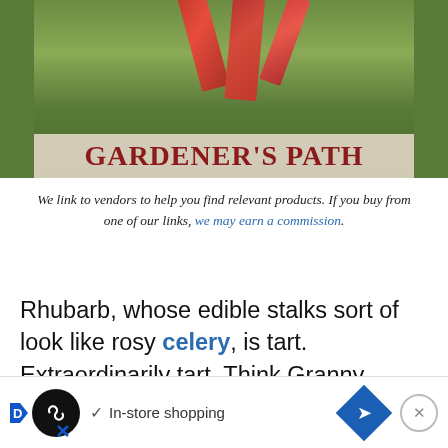[Figure (photo): Photo of red rhubarb stalks on green grass background with Gardener's Path logo banner]
We link to vendors to help you find relevant products. If you buy from one of our links, we may earn a commission.
Rhubarb, whose edible stalks sort of look like rosy celery, is tart. Extraordinarily tart. Think Granny Smith apple times 100.
This vegetable/fruit (hang on – we'll explain in a minute) is almost never eat[en raw]...
[Figure (screenshot): In-store shopping advertisement bar at the bottom of the page]